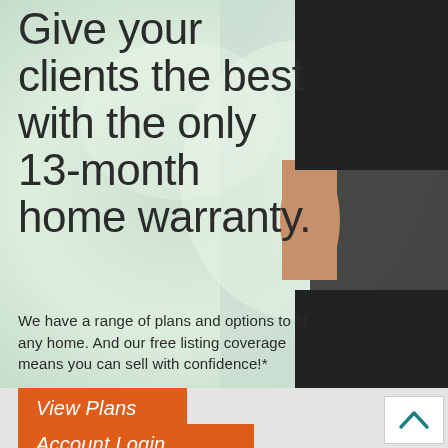Give your clients the best with the only 13-month home warranty.
We have a range of plans and options to fit any home. And our free listing coverage means you can sell with confidence!*
[Figure (illustration): Background with light green/teal blurred office environment, person wearing black outfit visible on right side]
View Plans
Account Login